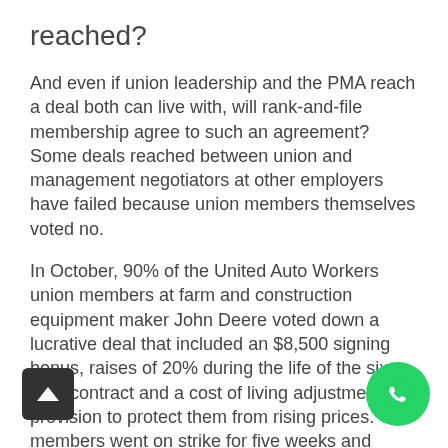reached?
And even if union leadership and the PMA reach a deal both can live with, will rank-and-file membership agree to such an agreement? Some deals reached between union and management negotiators at other employers have failed because union members themselves voted no.
In October, 90% of the United Auto Workers union members at farm and construction equipment maker John Deere voted down a lucrative deal that included an $8,500 signing bonus, raises of 20% during the life of the six year contract and a cost of living adjustment provision to protect them from rising prices. The members went on strike for five weeks and rejected a second tentative labor deal before finally voting in